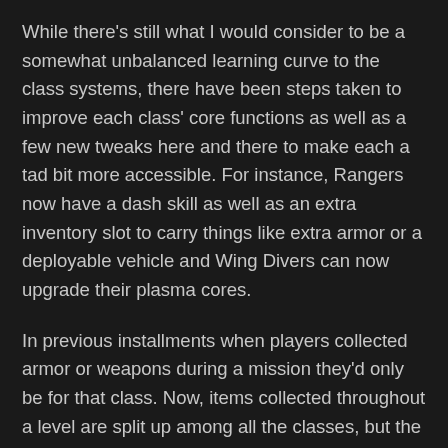While there's still what I would consider to be a somewhat unbalanced learning curve to the class systems, there have been steps taken to improve each class' core functions as well as a few new tweaks here and there to make each a tad bit more accessible. For instance, Rangers now have a dash skill as well as an extra inventory slot to carry things like extra armor or a deployable vehicle and Wing Divers can now upgrade their plasma cores.
In previous installments when players collected armor or weapons during a mission they'd only be for that class. Now, items collected throughout a level are split up among all the classes, but the player's main class still seems to get the king's share of items. It was definitely convenient no longer having to start at square one each time I wanted to try a new class this